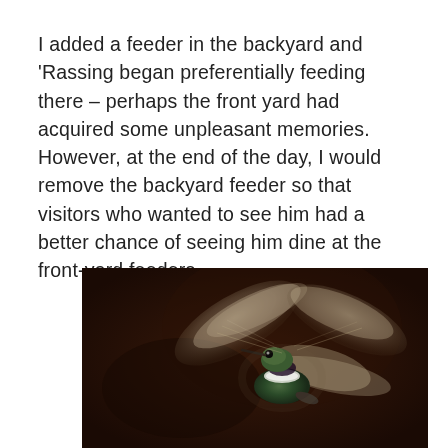I added a feeder in the backyard and 'Rassing began preferentially feeding there – perhaps the front yard had acquired some unpleasant memories. However, at the end of the day, I would remove the backyard feeder so that visitors who wanted to see him had a better chance of seeing him dine at the front-yard feeders.
[Figure (photo): Close-up photograph of a hummingbird in flight against a dark brown/black background. The bird's wings are blurred from motion, showing rapid wingbeats. The bird has iridescent green and dark plumage with a white band visible on its body.]